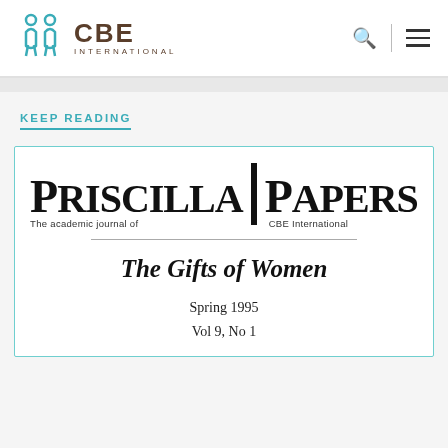CBE INTERNATIONAL
KEEP READING
[Figure (other): Priscilla Papers journal cover showing masthead with 'Priscilla Papers – The academic journal of CBE International', article title 'The Gifts of Women', Spring 1995, Vol 9, No 1]